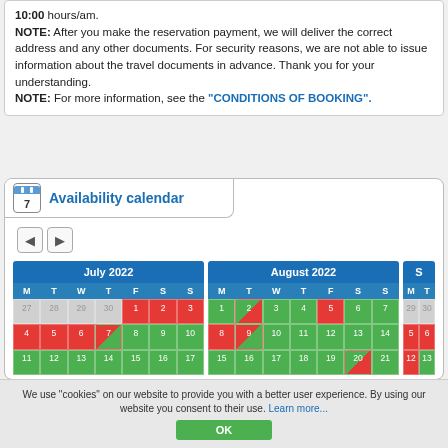10:00 hours/am. NOTE: After you make the reservation payment, we will deliver the correct address and any other documents. For security reasons, we are not able to issue information about the travel documents in advance. Thank you for your understanding. NOTE: For more information, see the "CONDITIONS OF BOOKING".
Availability calendar
[Figure (other): Availability calendar showing July 2022 and August 2022 with colored day cells (green=available, red=unavailable, half-and-half=partial), with navigation arrows and a partially visible September 2022 column.]
We use "cookies" on our website to provide you with a better user experience. By using our website you consent to their use. Learn more...